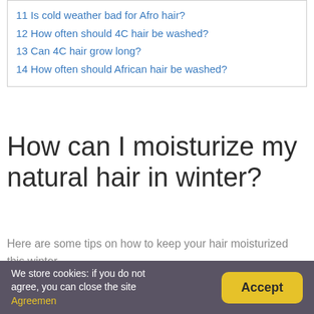11 Is cold weather bad for Afro hair?
12 How often should 4C hair be washed?
13 Can 4C hair grow long?
14 How often should African hair be washed?
How can I moisturize my natural hair in winter?
Here are some tips on how to keep your hair moisturized this winter.
1. Use a co-wash. If you are ready to give the shampoos a rest, try co-washing or using a cleansing conditioner.
We store cookies: if you do not agree, you can close the site Agreemen    Accept